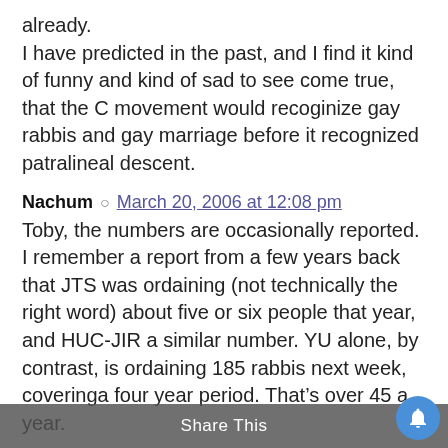already.
I have predicted in the past, and I find it kind of funny and kind of sad to see come true, that the C movement would recoginize gay rabbis and gay marriage before it recognized patralineal descent.
Nachum  March 20, 2006 at 12:08 pm
Toby, the numbers are occasionally reported. I remember a report from a few years back that JTS was ordaining (not technically the right word) about five or six people that year, and HUC-JIR a similar number. YU alone, by contrast, is ordaining 185 rabbis next week, coveringa four year period. That’s over 45 a year.
Of course, there are many reasons for this. A great many Orthodox Jews are ordained...
Share This